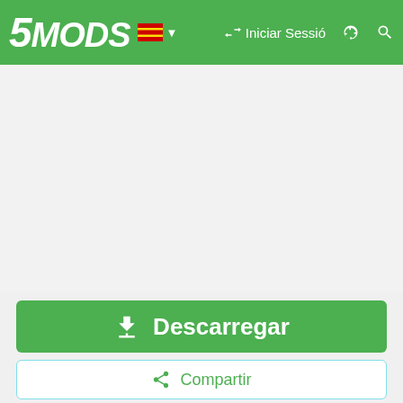5MODS — Iniciar Sessió
[Figure (screenshot): White advertisement space area below navigation bar]
⬇ Descarregar
🔀 Compartir
OceanRAZR
[Figure (logo): OceanRAZR logo in black and white]
YouTube 254